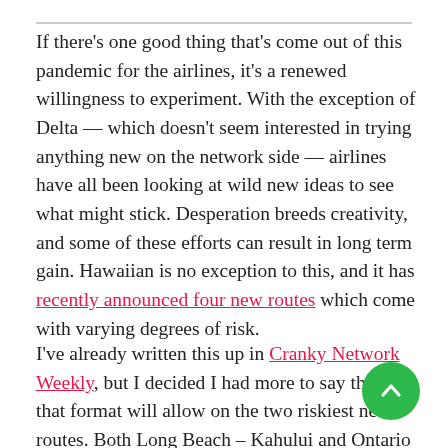If there's one good thing that's come out of this pandemic for the airlines, it's a renewed willingness to experiment. With the exception of Delta — which doesn't seem interested in trying anything new on the network side — airlines have all been looking at wild new ideas to see what might stick. Desperation breeds creativity, and some of these efforts can result in long term gain. Hawaiian is no exception to this, and it has recently announced four new routes which come with varying degrees of risk.
I've already written this up in Cranky Network Weekly, but I decided I had more to say than that format will allow on the two riskiest new routes. Both Long Beach – Kahului and Ontario – Honolulu fit into solid, existing